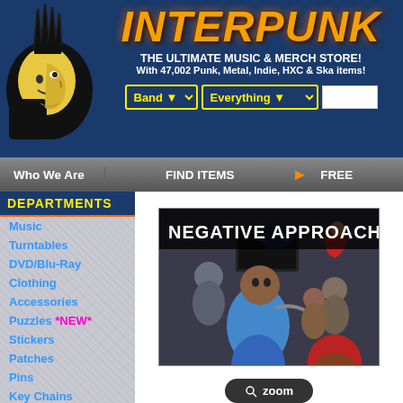[Figure (logo): Interpunk website header with punk mohawk logo character on left, INTERPUNK title in yellow-orange graffiti font, taglines and search bar]
THE ULTIMATE MUSIC & MERCH STORE! With 47,002 Punk, Metal, Indie, HXC & Ska items!
Who We Are | FIND ITEMS > | FREE
DEPARTMENTS
Music
Turntables
DVD/Blu-Ray
Clothing
Accessories
Puzzles *NEW*
Stickers
Patches
Pins
Key Chains
Posters
Books
[Figure (photo): Album cover for Negative Approach - Friends of No One, showing cartoon punk scene with singer at microphone and crowd]
zoom